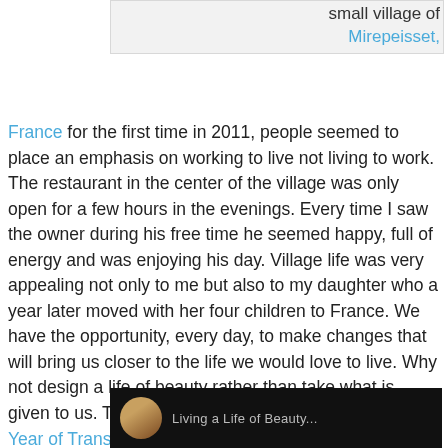[Figure (photo): A light grey/white image placeholder box at top]
small village of Mirepeisset, France for the first time in 2011, people seemed to place an emphasis on working to live not living to work. The restaurant in the center of the village was only open for a few hours in the evenings. Every time I saw the owner during his free time he seemed happy, full of energy and was enjoying his day. Village life was very appealing not only to me but also to my daughter who a year later moved with her four children to France. We have the opportunity, every day, to make changes that will bring us closer to the life we would love to live. Why not design a life of beauty rather than take what is given to us. That is precisely my focus during this, “My Year of Transformation.”
[Figure (screenshot): Dark video thumbnail at bottom with avatar circle and partial text visible]